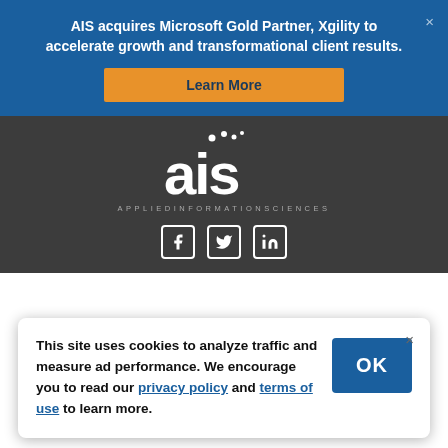AIS acquires Microsoft Gold Partner, Xgility to accelerate growth and transformational client results.
Learn More
[Figure (logo): AIS Applied Information Sciences logo with dots above letters, white text on dark background]
[Figure (infographic): Social media icons: Facebook, Twitter, LinkedIn — white icons with white border boxes]
This site uses cookies to analyze traffic and measure ad performance. We encourage you to read our privacy policy and terms of use to learn more.